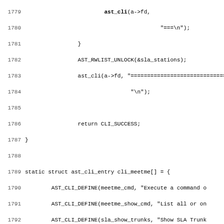[Figure (screenshot): Source code listing in monospace font showing C code lines 1779-1811 from a meetme/conferencing module, including AST_RWLIST_UNLOCK, ast_cli calls, CLI_SUCCESS return, static struct ast_cli_entry cli_meetme array definition, AST_CLI_DEFINE calls, and static void conf_flush function with frame reading logic.]